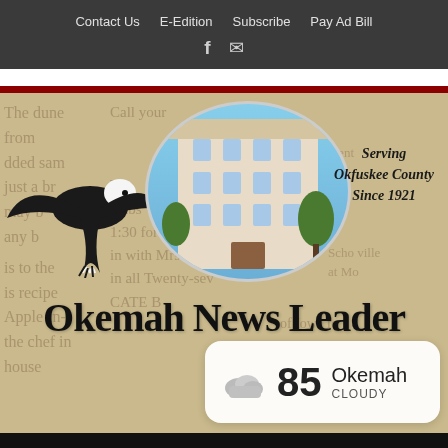Contact Us   E-Edition   Subscribe   Pay Ad Bill
[Figure (screenshot): Newspaper header screenshot showing the Okemah News Leader website with navigation bar, eagle logo, building photo, tagline 'Serving Okfuskee County Since 1921', newspaper masthead title, weather widget showing 85 degrees cloudy in Okemah, search bar, and menu bar]
Okemah News Leader
Serving Okfuskee County Since 1921
85  Okemah  CLOUDY
Search
Menu